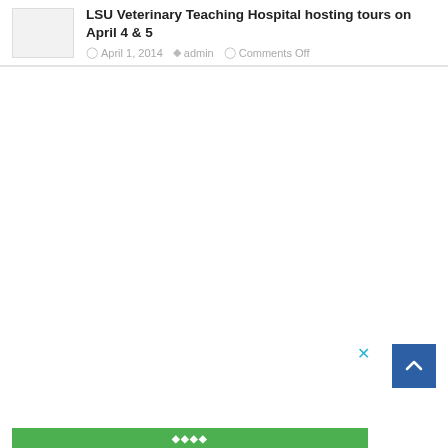LSU Veterinary Teaching Hospital hosting tours on April 4 & 5
April 1, 2014  admin  Comments Off
[Figure (other): Blank white/light gray thumbnail image placeholder]
[Figure (other): Large empty white content area (blog post body, content not visible)]
[Figure (other): Blue scroll-to-top button with upward chevron arrow in bottom right corner]
[Figure (other): Green bar at bottom of page with small white text]